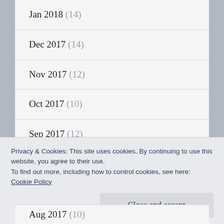Jan 2018 (14)
Dec 2017 (14)
Nov 2017 (12)
Oct 2017 (10)
Sep 2017 (12)
Aug 2017 (9)
Privacy & Cookies: This site uses cookies. By continuing to use this website, you agree to their use.
To find out more, including how to control cookies, see here:
Cookie Policy
Close and accept
Aug 2017 (10)